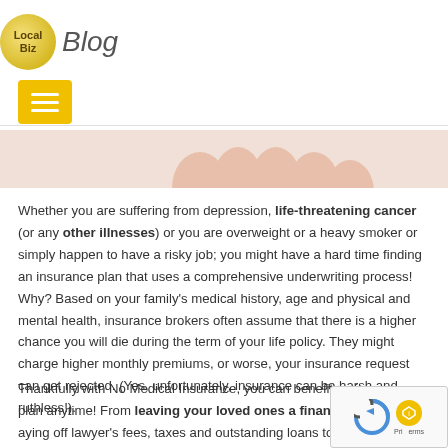LocalBiz Blog
[Figure (photo): Cropped image of a person's hand or fist at the top of the content area]
Whether you are suffering from depression, life-threatening cancer (or any other illnesses) or you are overweight or a heavy smoker or simply happen to have a risky job; you might have a hard time finding an insurance plan that uses a comprehensive underwriting process! Why? Based on your family's medical history, age and physical and mental health, insurance brokers often assume that there is a higher chance you will die during the term of your life policy. They might charge higher monthly premiums, or worse, your insurance request can get rejected. (Yes, unfortunately, insurance can be harsh and ruthless!).
Thankfully with No Medical Insurance, you can benefit an insurance plan anytime! From leaving your loved ones a financial legacy, paying off lawyer's fees, taxes and outstanding loans to covering final expenses (such as funerals or cremation costs), you are fully covered